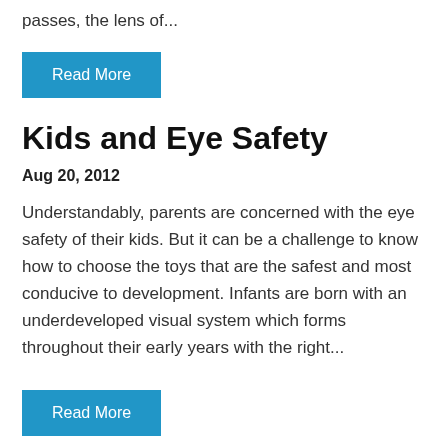passes, the lens of...
Read More
Kids and Eye Safety
Aug 20, 2012
Understandably, parents are concerned with the eye safety of their kids. But it can be a challenge to know how to choose the toys that are the safest and most conducive to development. Infants are born with an underdeveloped visual system which forms throughout their early years with the right...
Read More